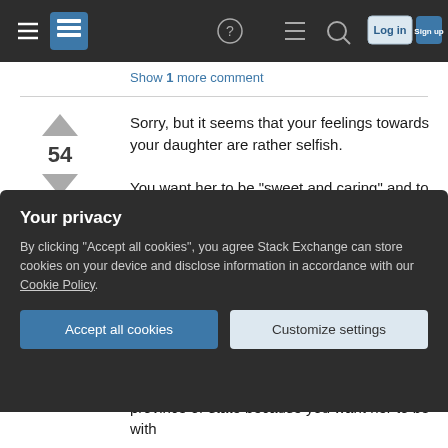[Figure (screenshot): Stack Exchange navigation bar with hamburger menu, logo, help icon, chat icon, search icon, Log in button, and Sign up button on dark background]
Show 1 more comment
Sorry, but it seems that your feelings towards your daughter are rather selfish.

You want her to be "sweet and caring" and to have physical contact with you. She doesn't. Well, it's just the phase most people go through. Kids like to be kissed and hugged by their parents; teenagers find this embarassing, especially if you try to do this in public. Please be patient: in a few years, when she
Your privacy

By clicking "Accept all cookies", you agree Stack Exchange can store cookies on your device and disclose information in accordance with our Cookie Policy.

Accept all cookies    Customize settings
province or state because you want her to be with